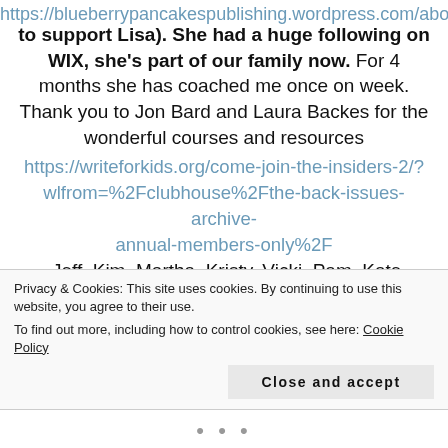https://blueberrypancakespublishing.wordpress.com/about/
to support Lisa). She had a huge following on WIX, she's part of our family now. For 4 months she has coached me once on week. Thank you to Jon Bard and Laura Backes for the wonderful courses and resources https://writeforkids.org/come-join-the-insiders-2/?wlfrom=%2Fclubhouse%2Fthe-back-issues-archive-annual-members-only%2F. Jeff, Kim, Martha, Kristy, Vicki, Pam, Kate, Ashok, Kathy, Richard, Vicki, Mitch, Eddie, Kathy, Mark, Julie (both), Dawn, Dwight, Jane, Michelle, Nico, Brenda, Tangie, Vincent, and so many more...Thank
Privacy & Cookies: This site uses cookies. By continuing to use this website, you agree to their use.
To find out more, including how to control cookies, see here: Cookie Policy
Close and accept